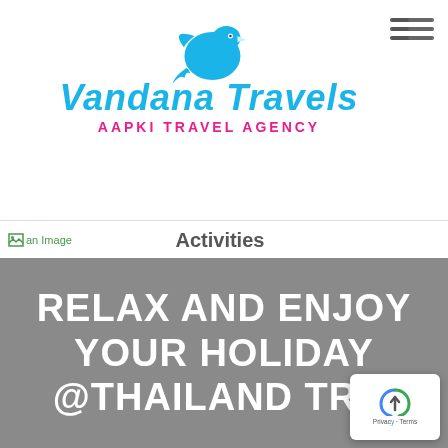[Figure (logo): Vandana Travels logo with a blue bird/dove icon above stylized script text 'Vandana Travels' in light blue, and below in pink bold uppercase 'AAPKI TRAVEL AGENCY']
Activities
[Figure (photo): Gray banner section with large bold white uppercase text: 'RELAX AND ENJOY YOUR HOLIDAY @THAILAND TRIP']